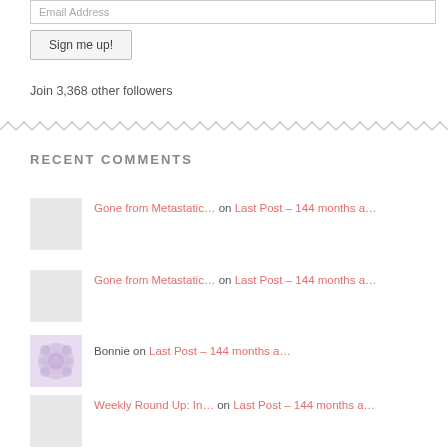Email Address
Sign me up!
Join 3,368 other followers
RECENT COMMENTS
Gone from Metastatic... on Last Post – 144 months a...
Gone from Metastatic... on Last Post – 144 months a...
Bonnie on Last Post – 144 months a...
Weekly Round Up: In... on Last Post – 144 months a...